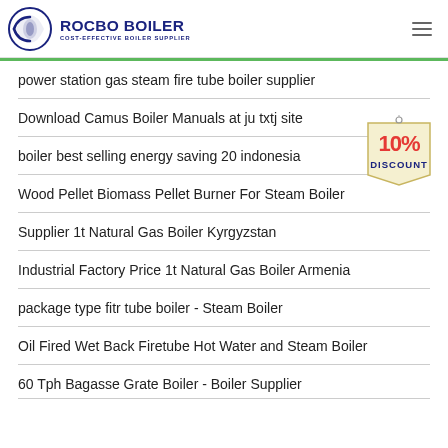ROCBO BOILER - COST-EFFECTIVE BOILER SUPPLIER
power station gas steam fire tube boiler supplier
Download Camus Boiler Manuals at ju txtj site
boiler best selling energy saving 20 indonesia
[Figure (illustration): 10% DISCOUNT badge/tag illustration]
Wood Pellet Biomass Pellet Burner For Steam Boiler
Supplier 1t Natural Gas Boiler Kyrgyzstan
Industrial Factory Price 1t Natural Gas Boiler Armenia
package type fitr tube boiler - Steam Boiler
Oil Fired Wet Back Firetube Hot Water and Steam Boiler
60 Tph Bagasse Grate Boiler - Boiler Supplier